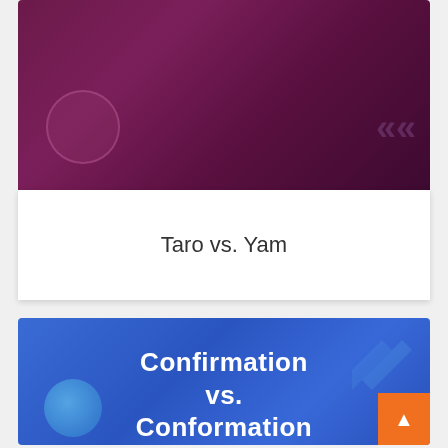[Figure (illustration): Dark maroon/purple banner with a circular bubble shape on the left and a chevron arrow on the right]
Taro vs. Yam
[Figure (illustration): Blue gradient banner with bold white text reading 'Confirmation vs. Conformation', a glowing teal circle bottom-left, a translucent chevron top-right, and an orange scroll-to-top button bottom-right]